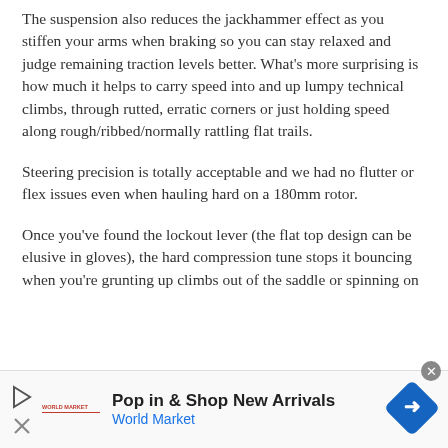The suspension also reduces the jackhammer effect as you stiffen your arms when braking so you can stay relaxed and judge remaining traction levels better. What's more surprising is how much it helps to carry speed into and up lumpy technical climbs, through rutted, erratic corners or just holding speed along rough/ribbed/normally rattling flat trails.
Steering precision is totally acceptable and we had no flutter or flex issues even when hauling hard on a 180mm rotor.
Once you've found the lockout lever (the flat top design can be elusive in gloves), the hard compression tune stops it bouncing when you're grunting up climbs out of the saddle or spinning on
[Figure (other): Advertisement banner for World Market: 'Pop in & Shop New Arrivals' with World Market logo, play button, close button, and a blue diamond-shaped navigation icon]